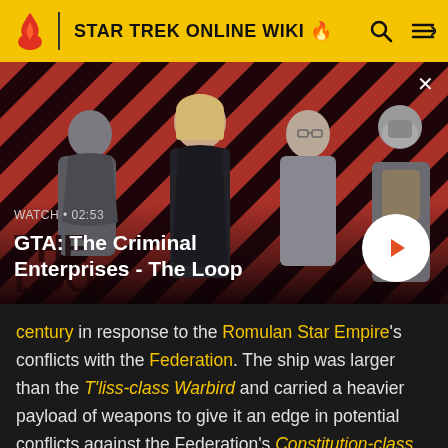STAR TREK ONLINE WIKI
[Figure (screenshot): GTA: The Criminal Enterprises - The Loop video thumbnail showing characters against a red diagonal striped background with play button]
WATCH • 02:53
GTA: The Criminal Enterprises - The Loop
century in response to the Romulan Star Empire's conflicts with the Federation. The ship was larger than the T'liss-class Warbird and carried a heavier payload of weapons to give it an edge in potential conflicts against the Federation's Constitution-class vessels.